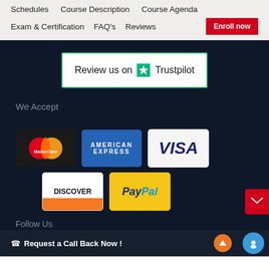Schedules   Course Description   Course Agenda
Exam & Certification   FAQ's   Reviews   Enroll now
[Figure (logo): Trustpilot review badge with green star logo and text 'Review us on Trustpilot']
We Accept
[Figure (illustration): Payment method logos: MasterCard, American Express, Visa, Discover, PayPal]
Follow Us
Request a Call Back Now !